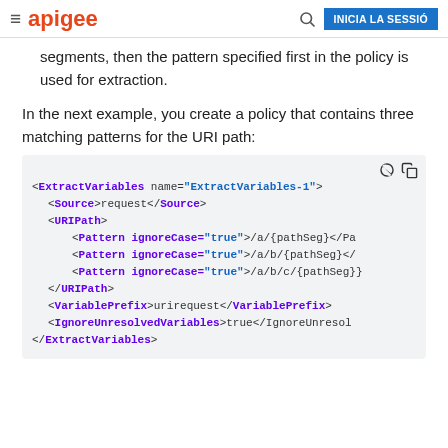apigee | INICIA LA SESSIÓ
segments, then the pattern specified first in the policy is used for extraction.
In the next example, you create a policy that contains three matching patterns for the URI path:
[Figure (screenshot): XML code block showing ExtractVariables policy with three Pattern elements for URI path matching, Source, URIPath, VariablePrefix, and IgnoreUnresolvedVariables elements.]